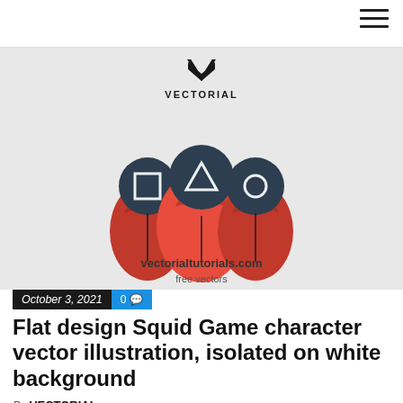Navigation bar with hamburger menu
[Figure (illustration): Flat design illustration of three Squid Game characters wearing red hooded jumpsuits with dark circular heads showing a square, triangle, and circle symbol respectively. Above them is the VECTORIAL logo (downward-pointing chevron). Below the figures: 'vectorialtutorials.com' in bold and 'free vectors' in regular text. Background is light gray.]
October 3, 2021
0
Flat design Squid Game character vector illustration, isolated on white background
By VECTORIAL
440 Views ]–Flat design Squid Game character vector illustration,